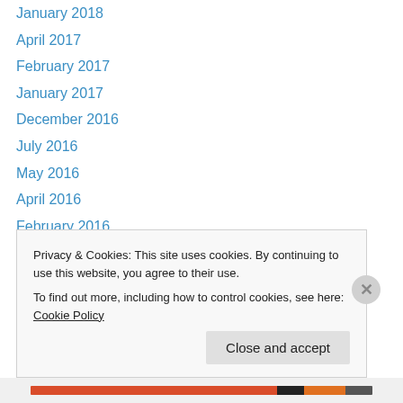January 2018
April 2017
February 2017
January 2017
December 2016
July 2016
May 2016
April 2016
February 2016
January 2016
October 2015
September 2015
August 2015
July 2015
Privacy & Cookies: This site uses cookies. By continuing to use this website, you agree to their use. To find out more, including how to control cookies, see here: Cookie Policy
Close and accept